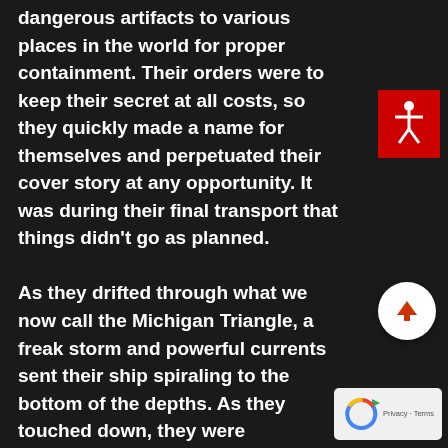dangerous artifacts to various places in the world for proper containment. Their orders were to keep their secret at all costs, so they quickly made a name for themselves and perpetuated their cover story at any opportunity. It was during their final transport that things didn't go as planned.

As they drifted through what we now call the Michigan Triangle, a freak storm and powerful currents sent their ship spiraling to the bottom of the depths. As they touched down, they were swallowed by a giant pocket of air. They were unable to move the ship or even leave it without facing certain death.